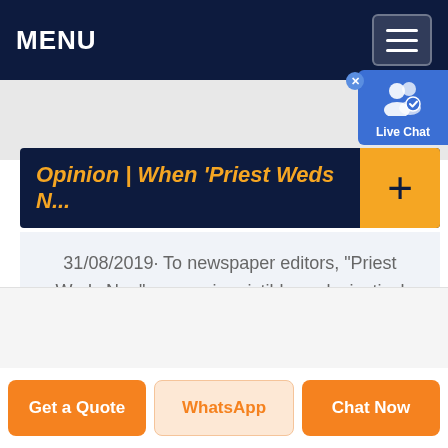MENU
[Figure (screenshot): Live Chat button with user icon overlay in top-right corner]
Opinion | When ‘Priest Weds N…
31/08/2019· To newspaper editors, “Priest Weds Nun” was an irresistible ecclesiastical spin on “Man Bites Dog,” and the story itself turned out to be evergreen, as reporters continued for years to ...
Get a Quote   WhatsApp   Chat Now